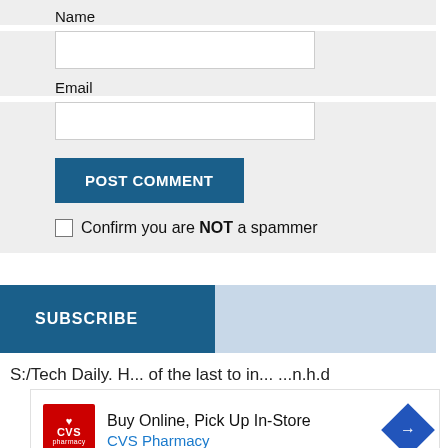Name
[Figure (screenshot): Text input field for Name]
Email
[Figure (screenshot): Text input field for Email]
[Figure (screenshot): POST COMMENT button (blue)]
Confirm you are NOT a spammer
[Figure (screenshot): SUBSCRIBE bar with dark blue left section and light blue right section]
S:/Tech Daily. H... of the last to in... ...n.h.d
[Figure (screenshot): CVS Pharmacy advertisement: Buy Online, Pick Up In-Store]